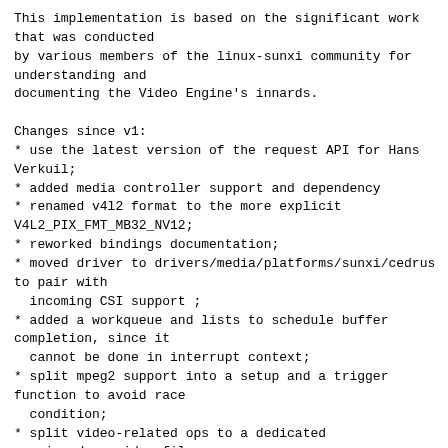This implementation is based on the significant work that was conducted
by various members of the linux-sunxi community for understanding and
documenting the Video Engine's innards.

Changes since v1:
* use the latest version of the request API for Hans Verkuil;
* added media controller support and dependency
* renamed v4l2 format to the more explicit V4L2_PIX_FMT_MB32_NV12;
* reworked bindings documentation;
* moved driver to drivers/media/platforms/sunxi/cedrus to pair with
  incoming CSI support ;
* added a workqueue and lists to schedule buffer completion, since it
  cannot be done in interrupt context;
* split mpeg2 support into a setup and a trigger function to avoid race
  condition;
* split video-related ops to a dedicated sunxi_cedrus_video file;
* cleaned up the included headers for each file;
* used device PFN offset instead of subtracting PHYS_BASE;
* used reset_control_reset instead of assert+deassert;
* put the device in reset when removing driver;
* ...